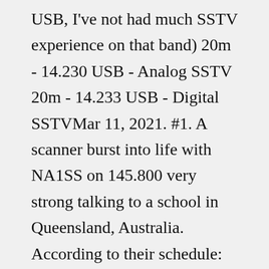USB, I've not had much SSTV experience on that band) 20m - 14.230 USB - Analog SSTV 20m - 14.233 USB - Digital SSTVMar 11, 2021. #1. A scanner burst into life with NA1SS on 145.800 very strong talking to a school in Queensland, Australia. According to their schedule: Avoca State School, Bundaberg, QLD, Australia, direct via VK4BW. The ISS callsign is presently scheduled to be NA1SS. The downlink frequency is presently scheduled to be